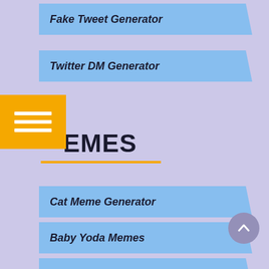Fake Tweet Generator
Twitter DM Generator
EMES
Cat Meme Generator
Baby Yoda Memes
Cat Memes
Coronavirus Memes
Pubg Memes
Simpsons Memes
Spongebob Memes